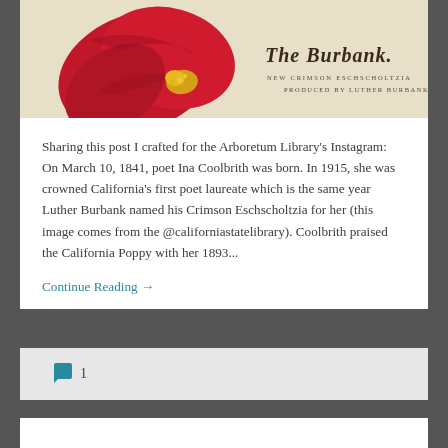[Figure (illustration): Vintage botanical illustration of The Burbank, a New Crimson Eschscholtzia (California Poppy) produced by Luther Burbank. Shows a red poppy flower with yellow center on a cream/beige background with decorative text 'The Burbank. New Crimson Eschscholtzia produced by Luther Burbank.']
Sharing this post I crafted for the Arboretum Library's Instagram: On March 10, 1841, poet Ina Coolbrith was born. In 1915, she was crowned California's first poet laureate which is the same year Luther Burbank named his Crimson Eschscholtzia for her (this image comes from the @californiastatelibrary). Coolbrith praised the California Poppy with her 1893...
Continue Reading →